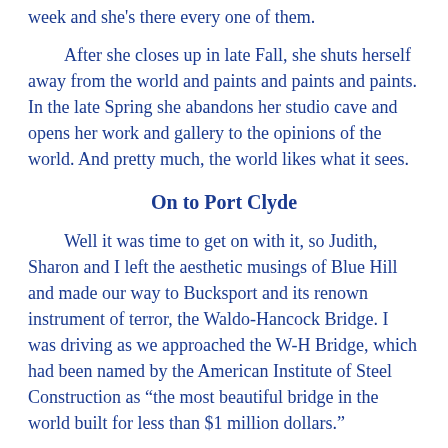week and she's there every one of them.
After she closes up in late Fall, she shuts herself away from the world and paints and paints and paints. In the late Spring she abandons her studio cave and opens her work and gallery to the opinions of the world. And pretty much, the world likes what it sees.
On to Port Clyde
Well it was time to get on with it, so Judith, Sharon and I left the aesthetic musings of Blue Hill and made our way to Bucksport and its renown instrument of terror, the Waldo-Hancock Bridge. I was driving as we approached the W-H Bridge, which had been named by the American Institute of Steel Construction as “the most beautiful bridge in the world built for less than $1 million dollars.”